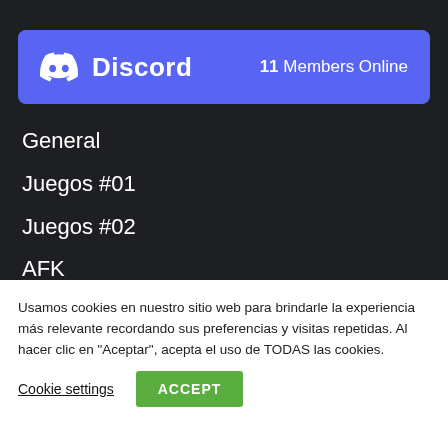[Figure (screenshot): Discord widget banner with logo, wordmark 'Discord', and '11 Members Online' text on a purple (#5865f2) background]
General
Juegos #01
Juegos #02
AFK
Usamos cookies en nuestro sitio web para brindarle la experiencia más relevante recordando sus preferencias y visitas repetidas. Al hacer clic en "Aceptar", acepta el uso de TODAS las cookies.
Cookie settings   ACCEPT